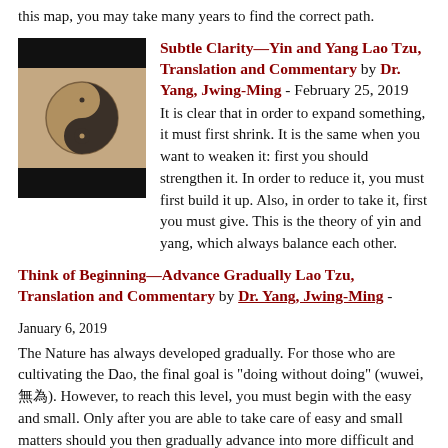this map, you may take many years to find the correct path.
[Figure (photo): Yin and yang symbol carved in stone/sand]
Subtle Clarity—Yin and Yang Lao Tzu, Translation and Commentary by Dr. Yang, Jwing-Ming - February 25, 2019
It is clear that in order to expand something, it must first shrink. It is the same when you want to weaken it: first you should strengthen it. In order to reduce it, you must first build it up. Also, in order to take it, first you must give. This is the theory of yin and yang, which always balance each other.
Think of Beginning—Advance Gradually Lao Tzu, Translation and Commentary by Dr. Yang, Jwing-Ming - January 6, 2019
The Nature has always developed gradually. For those who are cultivating the Dao, the final goal is "doing without doing" (wuwei, 無為). However, to reach this level, you must begin with the easy and small. Only after you are able to take care of easy and small matters should you then gradually advance into more difficult and bigger matters.